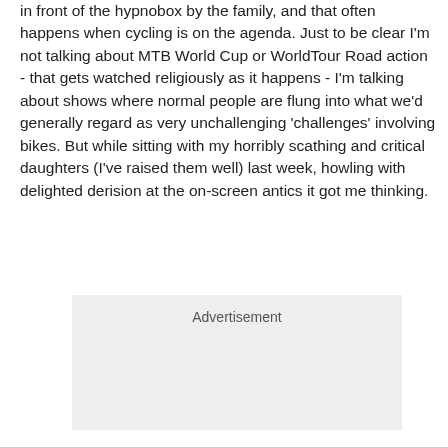in front of the hypnobox by the family, and that often happens when cycling is on the agenda. Just to be clear I'm not talking about MTB World Cup or WorldTour Road action - that gets watched religiously as it happens - I'm talking about shows where normal people are flung into what we'd generally regard as very unchallenging 'challenges' involving bikes. But while sitting with my horribly scathing and critical daughters (I've raised them well) last week, howling with delighted derision at the on-screen antics it got me thinking.
[Figure (other): Advertisement placeholder box with grey background]